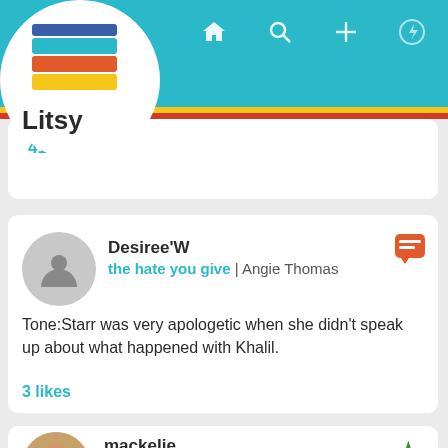[Figure (screenshot): Litsy app logo with stacked books icon and brand name 'Litsy' in top left corner]
Litsy app navigation bar with home, search, add, activity, and profile icons
41 likes
Desiree'W
the hate you give | Angie Thomas
Tone:Starr was very apologetic when she didn't speak up about what happened with Khalil.
3 likes
mackelie
The Hate U Give | Angie Thomas